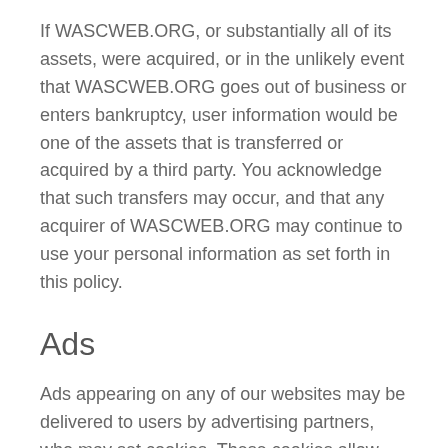If WASCWEB.ORG, or substantially all of its assets, were acquired, or in the unlikely event that WASCWEB.ORG goes out of business or enters bankruptcy, user information would be one of the assets that is transferred or acquired by a third party. You acknowledge that such transfers may occur, and that any acquirer of WASCWEB.ORG may continue to use your personal information as set forth in this policy.
Ads
Ads appearing on any of our websites may be delivered to users by advertising partners, who may set cookies. These cookies allow the ad server to recognize your computer each time they send you an online advertisement to compile information about you or others who use your computer. This information allows ad networks to, among other things, deliver targeted